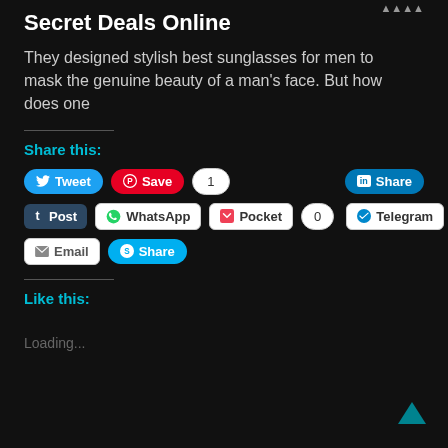Secret Deals Online
They designed stylish best sunglasses for men to mask the genuine beauty of a man’s face. But how does one
Share this:
[Figure (screenshot): Social sharing buttons: Tweet, Save (Pinterest, count 1), LinkedIn Share, Tumblr Post, WhatsApp, Pocket (count 0), Telegram, Email, Skype Share]
Like this:
Loading...